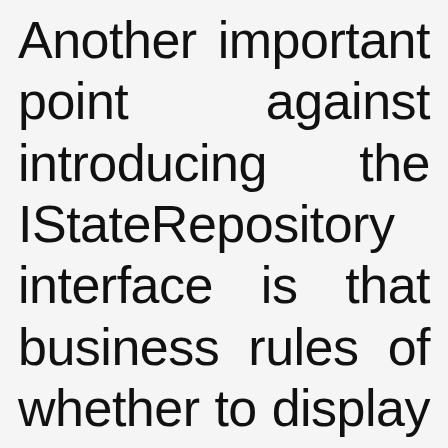Another important point against introducing the IStateRepository interface is that business rules of whether to display a particular State in